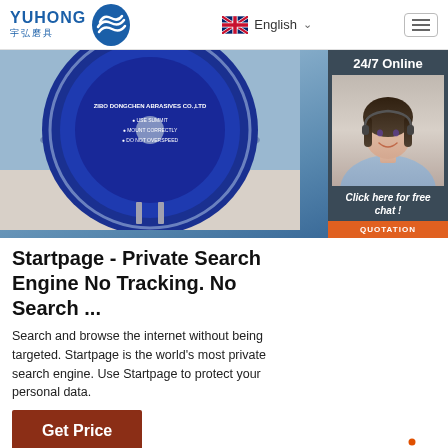YUHONG 宇弘磨具 | English
[Figure (photo): Blue circular abrasive/grinding disc from ZIBO DONGCHEN ABRASIVES CO.,LTD displayed on a light surface, with a 24/7 Online customer service panel on the right showing a smiling female agent with headset]
Startpage - Private Search Engine No Tracking. No Search ...
Search and browse the internet without being targeted. Startpage is the world's most private search engine. Use Startpage to protect your personal data.
Click here for free chat !
QUOTATION
Get Price